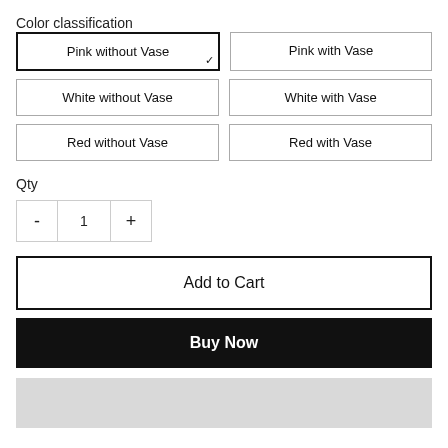Color classification
Pink without Vase (selected)
Pink with Vase
White without Vase
White with Vase
Red without Vase
Red with Vase
Qty
- 1 +
Add to Cart
Buy Now
[Figure (other): Gray placeholder bar at bottom of page]